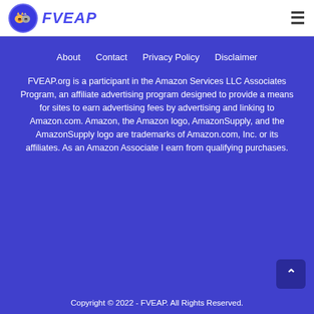FVEAP
About
Contact
Privacy Policy
Disclaimer
FVEAP.org is a participant in the Amazon Services LLC Associates Program, an affiliate advertising program designed to provide a means for sites to earn advertising fees by advertising and linking to Amazon.com. Amazon, the Amazon logo, AmazonSupply, and the AmazonSupply logo are trademarks of Amazon.com, Inc. or its affiliates. As an Amazon Associate I earn from qualifying purchases.
Copyright © 2022 - FVEAP. All Rights Reserved.